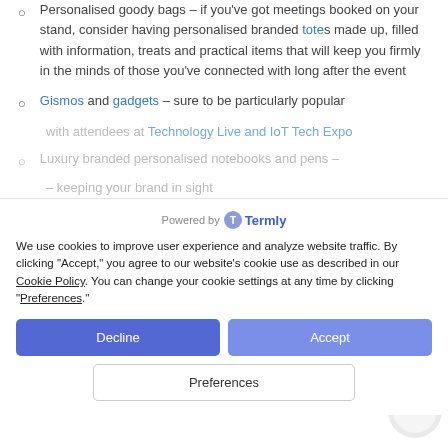Personalised goody bags – if you've got meetings booked on your stand, consider having personalised branded totes made up, filled with information, treats and practical items that will keep you firmly in the minds of those you've connected with long after the event
Gismos and gadgets – sure to be particularly popular with attendees at Technology Live and IoT Tech Expo
Luxury branded personalised notebooks and pens –
keeping your brand in sight
Eco-friendly merchandise – delegates are becoming more waste-conscious and this shows you're an ethical brand with a focus on sustainability
Clothing and accessories – those staffing the stan...
Powered by Termly
We use cookies to improve user experience and analyze website traffic. By clicking "Accept," you agree to our website's cookie use as described in our Cookie Policy. You can change your cookie settings at any time by clicking "Preferences."
Decline
Accept
Preferences